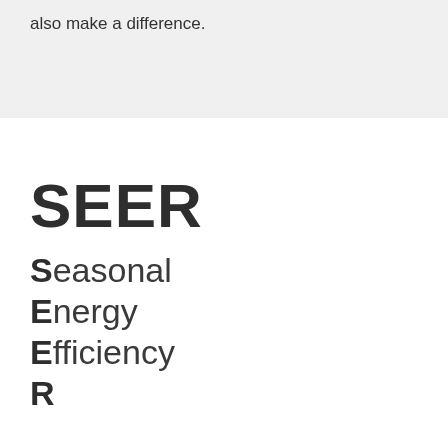also make a difference.
SEER
Seasonal
Energy
Efficiency
R...